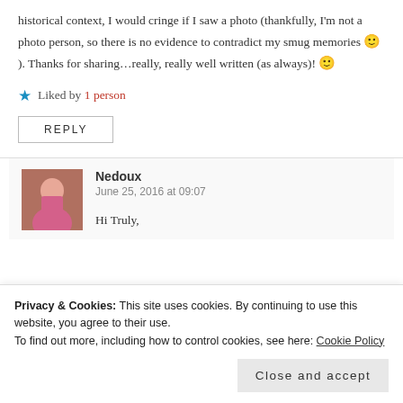historical context, I would cringe if I saw a photo (thankfully, I'm not a photo person, so there is no evidence to contradict my smug memories 🙂 ). Thanks for sharing…really, really well written (as always)! 🙂
⭐ Liked by 1 person
REPLY
Nedoux
June 25, 2016 at 09:07
Hi Truly,
Privacy & Cookies: This site uses cookies. By continuing to use this website, you agree to their use.
To find out more, including how to control cookies, see here: Cookie Policy
Close and accept